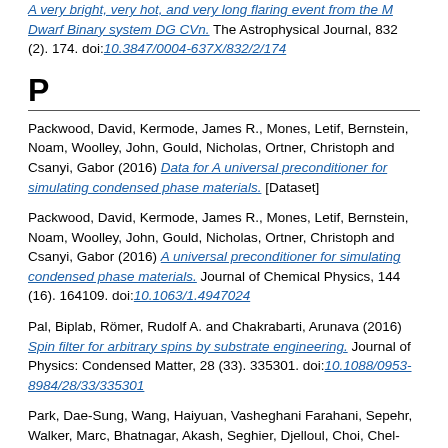A very bright, very hot, and very long flaring event from the M Dwarf Binary system DG CVn. The Astrophysical Journal, 832 (2). 174. doi:10.3847/0004-637X/832/2/174
P
Packwood, David, Kermode, James R., Mones, Letif, Bernstein, Noam, Woolley, John, Gould, Nicholas, Ortner, Christoph and Csanyi, Gabor (2016) Data for A universal preconditioner for simulating condensed phase materials. [Dataset]
Packwood, David, Kermode, James R., Mones, Letif, Bernstein, Noam, Woolley, John, Gould, Nicholas, Ortner, Christoph and Csanyi, Gabor (2016) A universal preconditioner for simulating condensed phase materials. Journal of Chemical Physics, 144 (16). 164109. doi:10.1063/1.4947024
Pal, Biplab, Römer, Rudolf A. and Chakrabarti, Arunava (2016) Spin filter for arbitrary spins by substrate engineering. Journal of Physics: Condensed Matter, 28 (33). 335301. doi:10.1088/0953-8984/28/33/335301
Park, Dae-Sung, Wang, Haiyuan, Vasheghani Farahani, Sepehr, Walker, Marc, Bhatnagar, Akash, Seghier, Djelloul, Choi, Chel-Jong, Kang, Jie-Hun and McConville, C. F. (Chris F.) (2016) Surface passivation of semiconducting oxides by self-assembled nanoparticles. Scientific Reports,